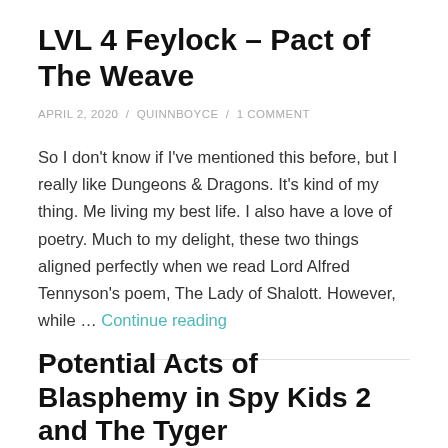LVL 4 Feylock – Pact of The Weave
APRIL 2, 2020 / QUINNBOYCE / 1 COMMENT
So I don't know if I've mentioned this before, but I really like Dungeons & Dragons. It's kind of my thing. Me living my best life. I also have a love of poetry. Much to my delight, these two things aligned perfectly when we read Lord Alfred Tennyson's poem, The Lady of Shalott. However, while … Continue reading
Potential Acts of Blasphemy in Spy Kids 2 and The Tyger